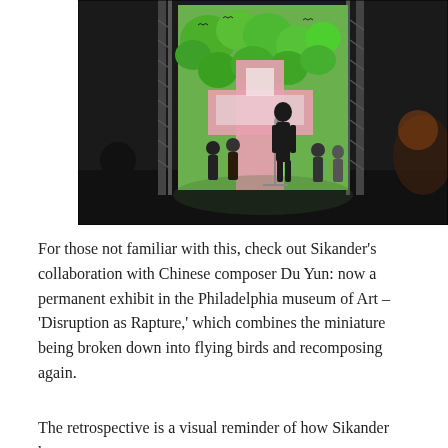[Figure (photo): A dark event venue with a large illuminated projection screen showing colorful artwork with green trees and a pink/white cross-like pattern. A figure stands at a microphone on stage. Metal truss structures frame the screen. Musicians or performers visible in the background and foreground.]
For those not familiar with this, check out Sikander's collaboration with Chinese composer Du Yun: now a permanent exhibit in the Philadelphia museum of Art – 'Disruption as Rapture,' which combines the miniature being broken down into flying birds and recomposing again.
The retrospective is a visual reminder of how Sikander has